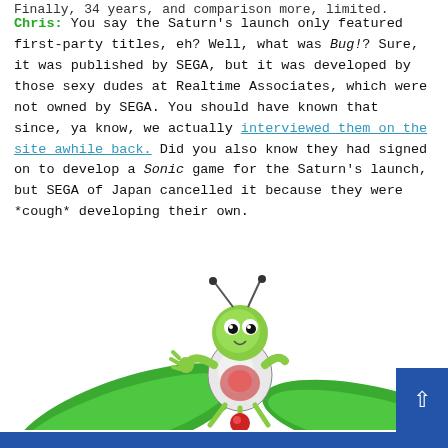Finally, 34 years and comparison more, limited.
Chris: You say the Saturn's launch only featured first-party titles, eh? Well, what was Bug!? Sure, it was published by SEGA, but it was developed by those sexy dudes at Realtime Associates, which were not owned by SEGA. You should have known that since, ya know, we actually interviewed them on the site awhile back. Did you also know they had signed on to develop a Sonic game for the Saturn's launch, but SEGA of Japan cancelled it because they were *cough* developing their own.
[Figure (illustration): Cartoon bug character (green insect from the Bug! video game) standing on green leaves, with additional green leaf forms around it. Bottom of image cut off.]